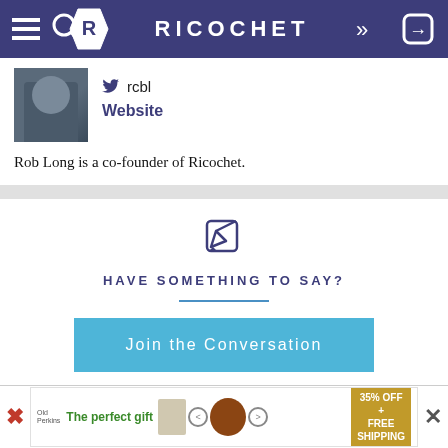RICOCHET
rcbl
Website
Rob Long is a co-founder of Ricochet.
HAVE SOMETHING TO SAY?
Join the Conversation
[Figure (screenshot): Advertisement banner: The perfect gift, 35% OFF + FREE SHIPPING]